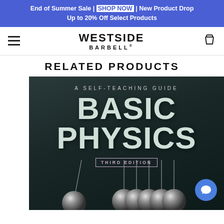End of Summer Sale | SHOP NOW | New Product Drop Up to 20% Off Select Products
[Figure (logo): Westside Barbell logo with hamburger menu and cart icon in navigation bar]
RELATED PRODUCTS
[Figure (photo): Book cover for 'Basic Physics: A Self-Teaching Guide, Third Edition' showing Newton's cradle on dark background]